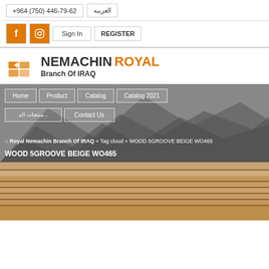+964 (750) 446-79-62  العربيه
f [facebook icon]  [instagram icon]  Sign In  REGISTER
[Figure (logo): Nemachin Royal Branch Of Iraq logo with orange brick icon]
[Figure (photo): Navigation bar over mountain background hero image with nav links: Home, Product, Catalog, Catalog 2021, and second row Arabic links and Contact Us, breadcrumb: Royal Nemachin Branch Of IRAQ » Tag cloud » WOOD 5GROOVE BEIGE WO465]
Royal Nemachin Branch Of IRAQ » Tag cloud » WOOD 5GROOVE BEIGE WO465
WOOD 5GROOVE BEIGE WO465
[Figure (photo): Close-up photo of wood panel with 5 grooves, beige/brown color, product WO465]